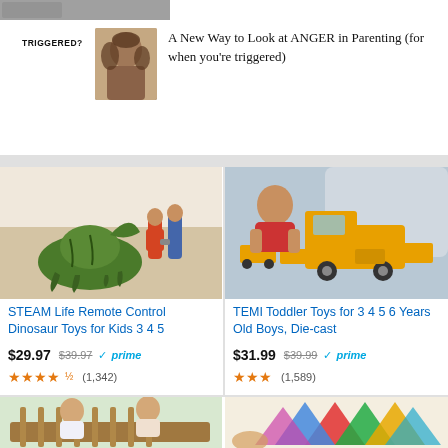[Figure (photo): Partial top image strip visible at top of page]
TRIGGERED?
[Figure (photo): Thumbnail of a woman with curly hair for parenting video]
A New Way to Look at ANGER in Parenting (for when you're triggered)
[Figure (photo): Product image: two kids playing with remote control dinosaur toy]
STEAM Life Remote Control Dinosaur Toys for Kids 3 4 5
$29.97 $39.97 prime (1,342)
[Figure (photo): Product image: child playing with TEMI die-cast truck toys]
TEMI Toddler Toys for 3 4 5 6 Years Old Boys, Die-cast
$31.99 $39.99 prime (1,589)
[Figure (photo): Partial product image: baby toy at bottom left]
[Figure (photo): Partial product image: magnetic tiles at bottom right]